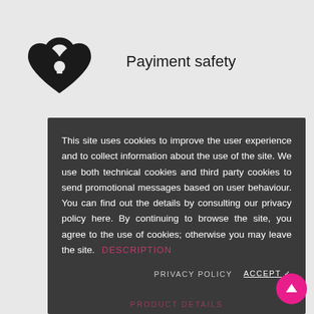[Figure (illustration): Heart-shaped padlock icon in black, symbolizing payment safety]
Payiment safety
This site uses cookies to improve the user experience and to collect information about the use of the site. We use both technical cookies and third party cookies to send promotional messages based on user behaviour. You can find out the details by consulting our privacy policy here. By continuing to browse the site, you agree to the use of cookies; otherwise you may leave the site.
DESCRIPTION
PRIVACY POLICY
ACCEPT ✓
Delivery 24/48h
PRODUCT DETAILS